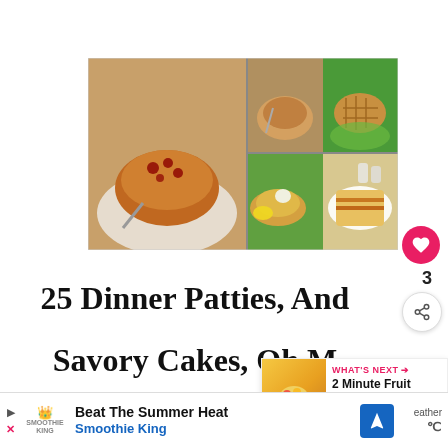[Figure (photo): Collage of food photos showing various dinner patties, melts, and savory cakes including what appears to be salmon or veggie patties with blueberry sauce, fried chicken patties with salad and lemon, grilled patties on lettuce, and a burger-style sandwich on a plate.]
25 Dinner Patties, And Savory Cakes, Oh M
Patty cake, patty cake, bakers man, or in this
[Figure (infographic): What's Next panel showing a fruit salad thumbnail with label 'WHAT'S NEXT' and title '2 Minute Fruit Salad']
Beat The Summer Heat Smoothie King